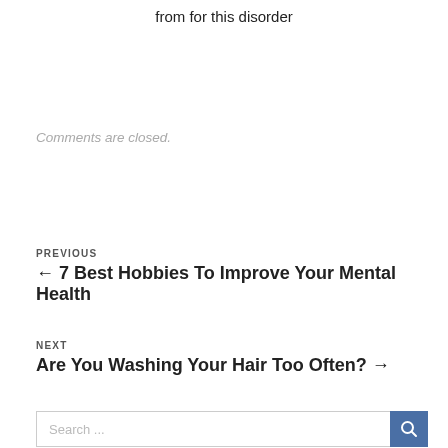from for this disorder
Comments are closed.
PREVIOUS
← 7 Best Hobbies To Improve Your Mental Health
NEXT
Are You Washing Your Hair Too Often? →